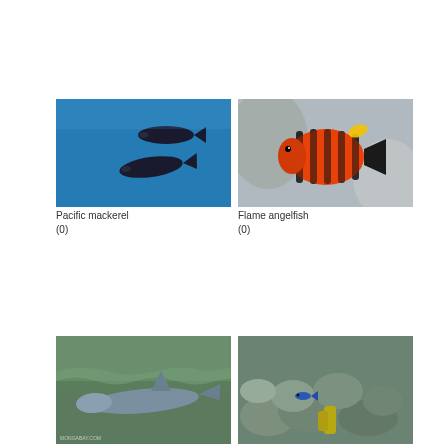[Figure (photo): Pacific mackerel fish underwater, two dark fish swimming in blue water]
Pacific mackerel
(0)
[Figure (photo): Flame angelfish with bright red-orange body and black vertical stripes with yellow markings]
Flame angelfish
(0)
[Figure (photo): Dolphin or shark swimming near the surface of greenish ocean water]
Bottom left fish label (partially visible)
[Figure (photo): Underwater rocky reef scene with a small blue fish and yellow sponge among rocks and rubble]
Bottom right fish label (partially visible)